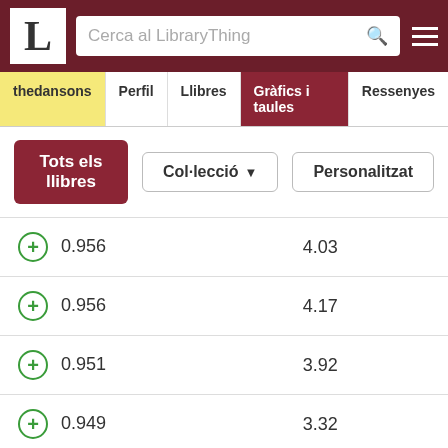LibraryThing - Cerca al LibraryThing
thedansons | Perfil | Llibres | Gràfics i taules | Ressenyes
Tots els llibres | Col·lecció | Personalitzat
|  | Score | Rating |
| --- | --- | --- |
| +  | 0.956 | 4.03 |
| +  | 0.956 | 4.17 |
| +  | 0.951 | 3.92 |
| +  | 0.949 | 3.32 |
Aquest lloc utilitza galetes per a oferir els nostres serveis, millorar el desenvolupament, per a anàlisis i (si no has iniciat la sessió) per a publicitat. Utilitzant LibraryThing acceptes que has llegit i entès els nostres Termes de servei i política de privacitat. L'ús que facis del lloc i dels seus serveis està subjecte a aquestes polítiques i termes.